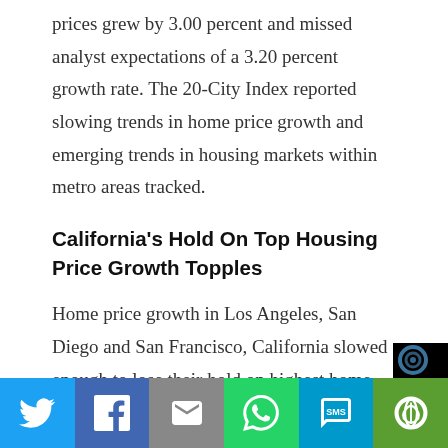prices grew by 3.00 percent and missed analyst expectations of a 3.20 percent growth rate. The 20-City Index reported slowing trends in home price growth and emerging trends in housing markets within metro areas tracked.
California's Hold On Top Housing Price Growth Topples
Home price growth in Los Angeles, San Diego and San Francisco, California slowed enough to lose their hold on highest home price growth rates seen in recent years. San Francisco was the only city to lose ground in